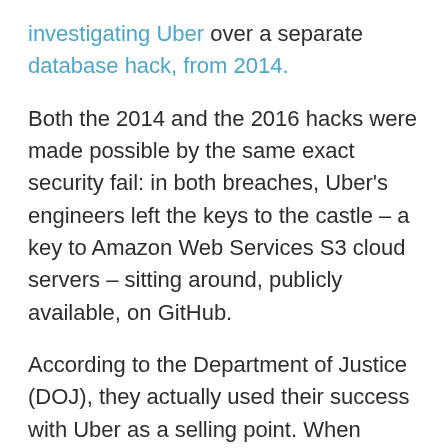investigating Uber over a separate database hack, from 2014.
Both the 2014 and the 2016 hacks were made possible by the same exact security fail: in both breaches, Uber's engineers left the keys to the castle – a key to Amazon Web Services S3 cloud servers – sitting around, publicly available, on GitHub.
According to the Department of Justice (DOJ), they actually used their success with Uber as a selling point. When trying to extort the LinkedIn-owned education company Lynda, the hackers said:
[P]lease keep in mind, we expect a big payment as this was hard work for us, we already helped a big corp which paid close to